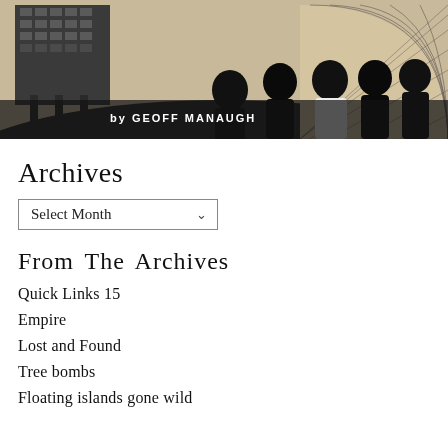[Figure (photo): Black and white photograph showing silhouettes of people looking at architecture. On the left is a brutalist multi-story building. On the right is a large circular/domed structure. Text overlay reads 'by GEOFF MANAUGH'.]
Archives
Select Month
From The Archives
Quick Links 15
Empire
Lost and Found
Tree bombs
Floating islands gone wild